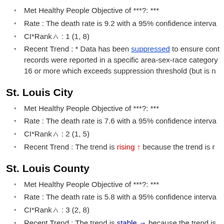Met Healthy People Objective of ***?: ***
Rate : The death rate is 9.2 with a 95% confidence interva
CI*Rank⋔ : 1 (1, 8)
Recent Trend : * Data has been suppressed to ensure confi records were reported in a specific area-sex-race category 16 or more which exceeds suppression threshold (but is n
St. Louis City
Met Healthy People Objective of ***?: ***
Rate : The death rate is 7.6 with a 95% confidence interva
CI*Rank⋔ : 2 (1, 5)
Recent Trend : The trend is rising ↑ because the trend is r
St. Louis County
Met Healthy People Objective of ***?: ***
Rate : The death rate is 5.8 with a 95% confidence interva
CI*Rank⋔ : 3 (2, 8)
Recent Trend : The trend is stable → because the trend is